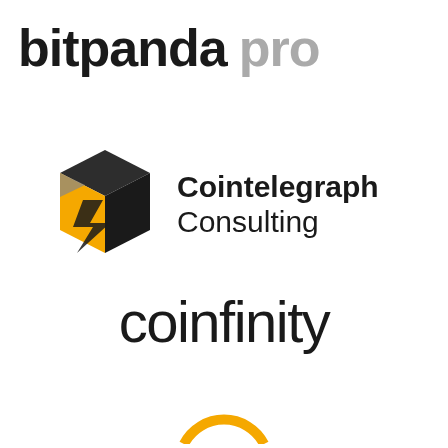[Figure (logo): Bitpanda Pro logo — 'bitpanda' in bold black and 'pro' in bold gray, large sans-serif text]
[Figure (logo): Cointelegraph Consulting logo — geometric cube icon in yellow, dark gray and black, with 'Cointelegraph' in bold black and 'Consulting' in regular black text]
[Figure (logo): coinfinity logo — lowercase 'coinfinity' in dark near-black sans-serif, with distinctive double-o letterform]
[Figure (logo): Partially visible circular logo at the bottom of the page, orange/yellow arc visible]